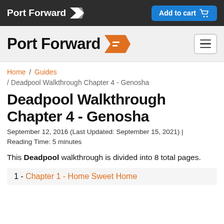Port Forward | Add to cart
[Figure (logo): Port Forward logo with orange arrow icon in site header]
Home / Guides / Deadpool Walkthrough Chapter 4 - Genosha
Deadpool Walkthrough Chapter 4 - Genosha
September 12, 2016 (Last Updated: September 15, 2021) | Reading Time: 5 minutes
This Deadpool walkthrough is divided into 8 total pages.
1 - Chapter 1 - Home Sweet Home